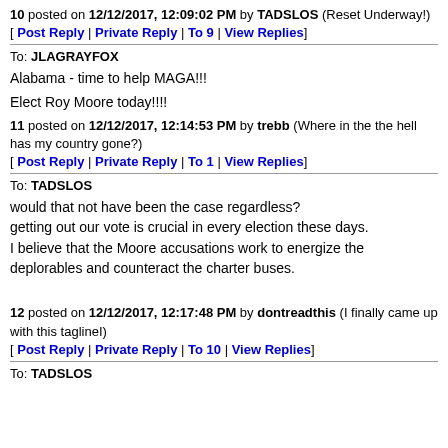10 posted on 12/12/2017, 12:09:02 PM by TADSLOS (Reset Underway!)
[ Post Reply | Private Reply | To 9 | View Replies]
To: JLAGRAYFOX
Alabama - time to help MAGA!!!
Elect Roy Moore today!!!!
11 posted on 12/12/2017, 12:14:53 PM by trebb (Where in the the hell has my country gone?)
[ Post Reply | Private Reply | To 1 | View Replies]
To: TADSLOS
would that not have been the case regardless?
getting out our vote is crucial in every election these days.
I believe that the Moore accusations work to energize the deplorables and counteract the charter buses.
12 posted on 12/12/2017, 12:17:48 PM by dontreadthis (I finally came up with this taglineI)
[ Post Reply | Private Reply | To 10 | View Replies]
To: TADSLOS